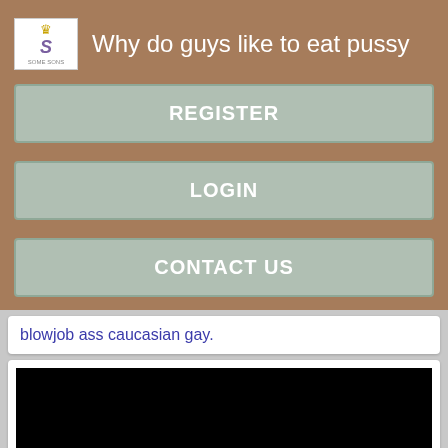Why do guys like to eat pussy
REGISTER
LOGIN
CONTACT US
blowjob ass caucasian gay.
[Figure (other): Black rectangle representing a video thumbnail]